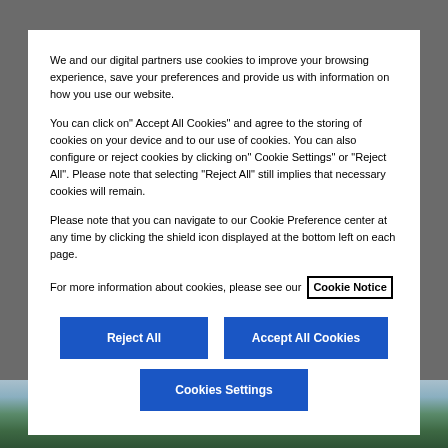We and our digital partners use cookies to improve your browsing experience, save your preferences and provide us with information on how you use our website.
You can click on" Accept All Cookies" and agree to the storing of cookies on your device and to our use of cookies. You can also configure or reject cookies by clicking on" Cookie Settings" or "Reject All". Please note that selecting "Reject All" still implies that necessary cookies will remain.
Please note that you can navigate to our Cookie Preference center at any time by clicking the shield icon displayed at the bottom left on each page.
For more information about cookies, please see our Cookie Notice
Reject All
Accept All Cookies
Cookies Settings
[Figure (photo): Outdoor landscape photo showing trees and sky at the bottom of the page]